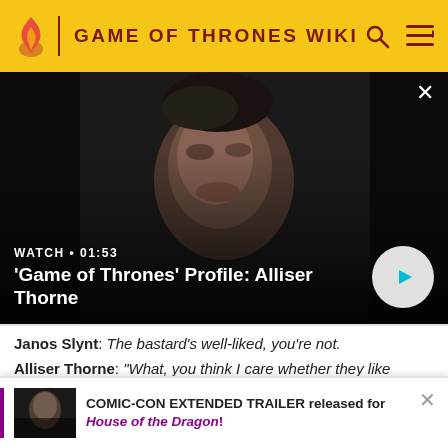GAME OF THRONES WIKI
[Figure (screenshot): Dark video thumbnail showing a man smiling in dim lighting, from Game of Thrones. Video overlay with WATCH • 01:53 and title "'Game of Thrones' Profile: Alliser Thorne" with play button.]
Janos Slynt: The bastard's well-liked, you're not.
Alliser Thorne: "What, you think I care whether they like
COMIC-CON EXTENDED TRAILER released for House of the Dragon!